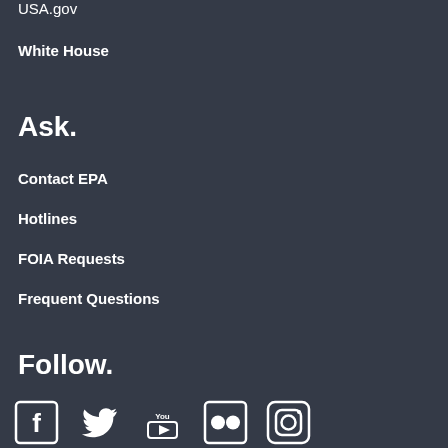USA.gov
White House
Ask.
Contact EPA
Hotlines
FOIA Requests
Frequent Questions
Follow.
[Figure (infographic): Social media icons: Facebook, Twitter, YouTube, Flickr, Instagram]